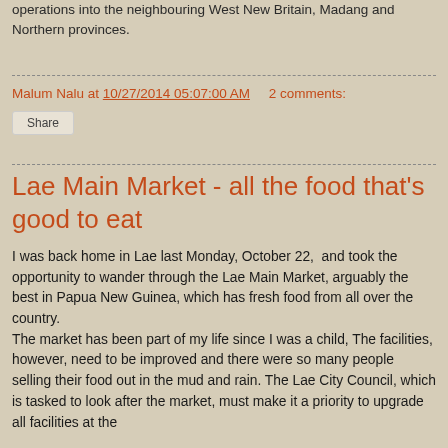operations into the neighbouring West New Britain, Madang and Northern provinces.
Malum Nalu at 10/27/2014 05:07:00 AM   2 comments:
Share
Lae Main Market - all the food that's good to eat
I was back home in Lae last Monday, October 22,  and took the opportunity to wander through the Lae Main Market, arguably the best in Papua New Guinea, which has fresh food from all over the country.
The market has been part of my life since I was a child, The facilities, however, need to be improved and there were so many people selling their food out in the mud and rain. The Lae City Council, which is tasked to look after the market, must make it a priority to upgrade all facilities at the